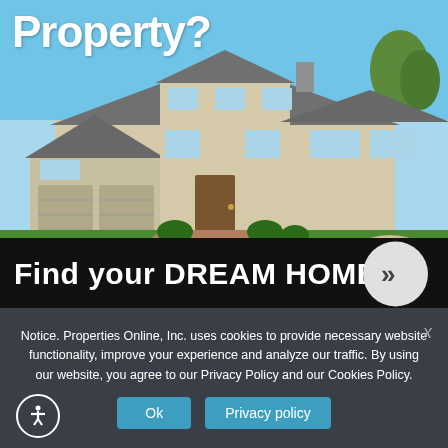Property?
[Figure (photo): Exterior photo of a large single-story suburban home with multiple garage doors, manicured lawn, shrubs, and trees under a blue sky]
Find your DREAM HOME
Notice. Properties Online, Inc. uses cookies to provide necessary website functionality, improve your experience and analyze our traffic. By using our website, you agree to our Privacy Policy and our Cookies Policy.
Ok   Privacy policy